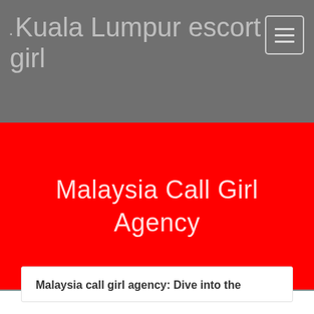Kuala Lumpur escort girl
Malaysia Call Girl Agency
Malaysia call girl agency: Dive into the